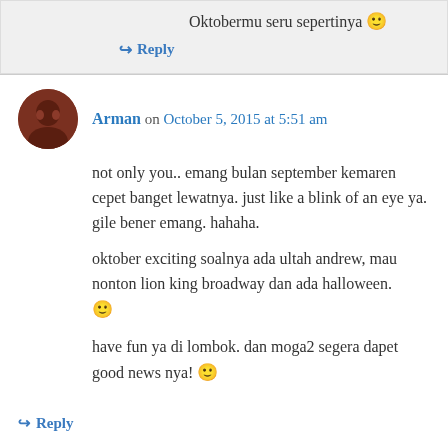Oktobermu seru sepertinya 🙂
↪ Reply
Arman on October 5, 2015 at 5:51 am
not only you.. emang bulan september kemaren cepet banget lewatnya. just like a blink of an eye ya. gile bener emang. hahaha.
oktober exciting soalnya ada ultah andrew, mau nonton lion king broadway dan ada halloween. 🙂
have fun ya di lombok. dan moga2 segera dapet good news nya! 🙂
↪ Reply